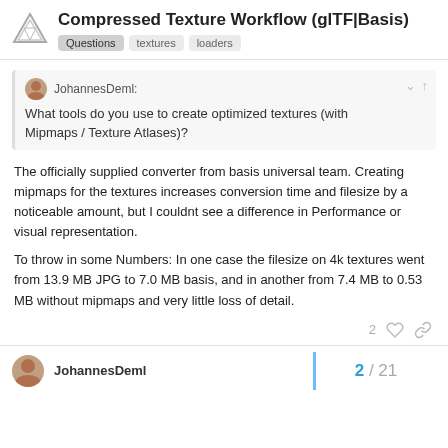Compressed Texture Workflow (glTF|Basis)
Questions  textures  loaders
JohannesDeml:
What tools do you use to create optimized textures (with Mipmaps / Texture Atlases)?
The officially supplied converter from basis universal team. Creating mipmaps for the textures increases conversion time and filesize by a noticeable amount, but I couldnt see a difference in Performance or visual representation.
To throw in some Numbers: In one case the filesize on 4k textures went from 13.9 MB JPG to 7.0 MB basis, and in another from 7.4 MB to 0.53 MB without mipmaps and very little loss of detail.
2
JohannesDeml
2 / 21